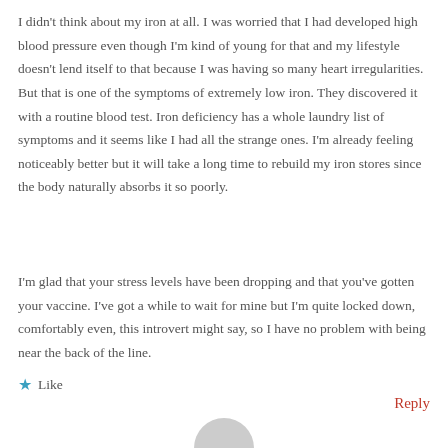I didn't think about my iron at all. I was worried that I had developed high blood pressure even though I'm kind of young for that and my lifestyle doesn't lend itself to that because I was having so many heart irregularities. But that is one of the symptoms of extremely low iron. They discovered it with a routine blood test. Iron deficiency has a whole laundry list of symptoms and it seems like I had all the strange ones. I'm already feeling noticeably better but it will take a long time to rebuild my iron stores since the body naturally absorbs it so poorly.
I'm glad that your stress levels have been dropping and that you've gotten your vaccine. I've got a while to wait for mine but I'm quite locked down, comfortably even, this introvert might say, so I have no problem with being near the back of the line.
★ Like
Reply